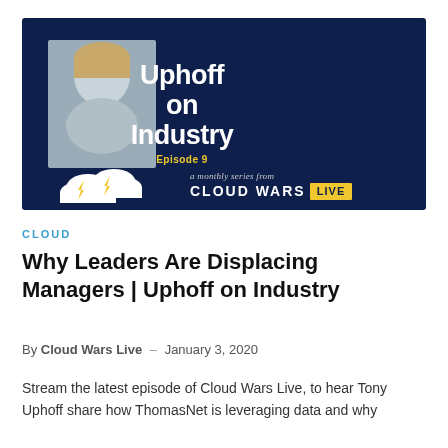[Figure (illustration): Uphoff on Industry Episode 9 banner image featuring a headshot of Tony Uphoff on a dark navy background with 'Uphoff on Industry' title text in white, 'Episode 9' in yellow, and Cloud Wars Live branding with cloud/lightning bolt logo at the bottom.]
CLOUD
Why Leaders Are Displacing Managers | Uphoff on Industry
By Cloud Wars Live – January 3, 2020
Stream the latest episode of Cloud Wars Live, to hear Tony Uphoff share how ThomasNet is leveraging data and why